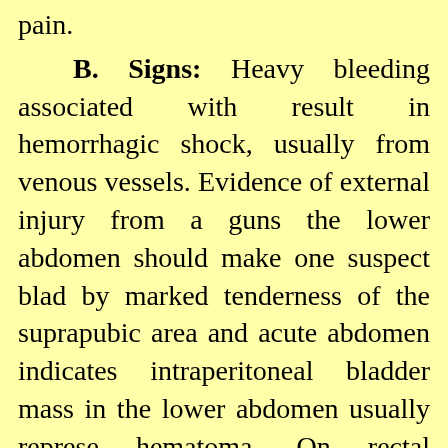pain.
B. Signs: Heavy bleeding associated with result in hemorrhagic shock, usually from venous vessels. Evidence of external injury from a gunshot the lower abdomen should make one suspect bladder by marked tenderness of the suprapubic area and acute abdomen indicates intraperitoneal bladder mass in the lower abdomen usually represents hematoma. On rectal examination, landmarks may of a large pelvic hematoma.
C. Laboratory Findings: Catheterization usually patients with pelvic trauma but not if bloody noted. Bloody urethral discharge indicates urethra urethrogram is necessary before catheterization. When done, gross or, less commonly, microscopic